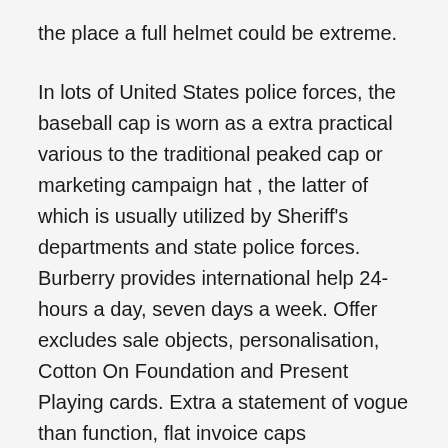the place a full helmet could be extreme.
In lots of United States police forces, the baseball cap is worn as a extra practical various to the traditional peaked cap or marketing campaign hat , the latter of which is usually utilized by Sheriff's departments and state police forces. Burberry provides international help 24-hours a day, seven days a week. Offer excludes sale objects, personalisation, Cotton On Foundation and Present Playing cards. Extra a statement of vogue than function, flat invoice caps recommend a more recent, more pristine product, and are ceaselessly worn with the manufacturer sticker still hooked up to the invoice to reinforce the maintained high quality of the cap. Please notice that Saturday, Sunday, and holidays aren't thought-about enterprise days. Under you will discover our hats